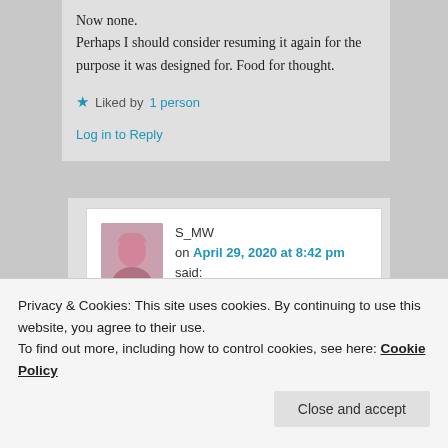Now none. Perhaps I should consider resuming it again for the purpose it was designed for. Food for thought.
★ Liked by 1 person
Log in to Reply
S_MW on April 29, 2020 at 8:42 pm said:
I was on prozac for a LONG time
★ Liked by 1 person
Privacy & Cookies: This site uses cookies. By continuing to use this website, you agree to their use. To find out more, including how to control cookies, see here: Cookie Policy
Close and accept